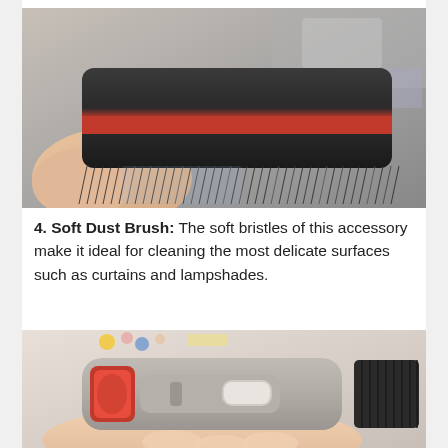[Figure (photo): Close-up photo of a soft dust brush with black bristles and a red accent stripe, being held by a hand against a blurred background with electronics.]
4. Soft Dust Brush: The soft bristles of this accessory make it ideal for cleaning the most delicate surfaces such as curtains and lampshades.
[Figure (photo): Close-up photo of a gray vacuum cleaner soft dust brush attachment with a red release button, being held by a hand, with black bristles visible on the right side.]